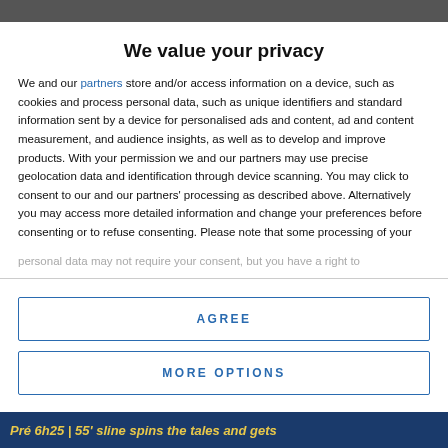We value your privacy
We and our partners store and/or access information on a device, such as cookies and process personal data, such as unique identifiers and standard information sent by a device for personalised ads and content, ad and content measurement, and audience insights, as well as to develop and improve products. With your permission we and our partners may use precise geolocation data and identification through device scanning. You may click to consent to our and our partners' processing as described above. Alternatively you may access more detailed information and change your preferences before consenting or to refuse consenting. Please note that some processing of your personal data may not require your consent, but you have a right to
AGREE
MORE OPTIONS
Pré 6h25 | 55' sline spins the tales and gets